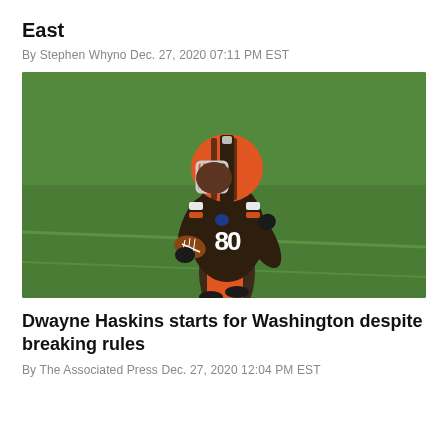East
By Stephen Whyno Dec. 27, 2020 07:11 PM EST
[Figure (photo): NFL football player wearing Cleveland Browns uniform number 80, carrying a football and running on a grass field. Player is wearing an orange helmet with brown and white stripes.]
Dwayne Haskins starts for Washington despite breaking rules
By The Associated Press Dec. 27, 2020 12:04 PM EST